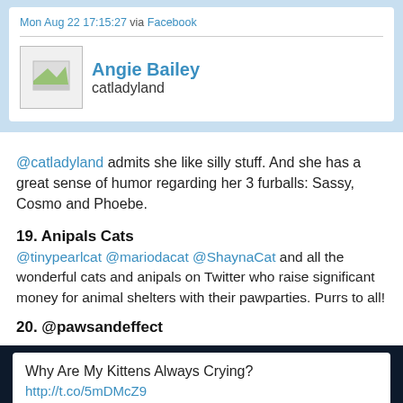Mon Aug 22 17:15:27 via Facebook
Angie Bailey
catladyland
@catladyland admits she like silly stuff. And she has a great sense of humor regarding her 3 furballs: Sassy, Cosmo and Phoebe.
19. Anipals Cats
@tinypearlcat @mariodacat @ShaynaCat and all the wonderful cats and anipals on Twitter who raise significant money for animal shelters with their pawparties. Purrs to all!
20. @pawsandeffect
Why Are My Kittens Always Crying?
http://t.co/5mDMcZ9
Sun Aug 21 14:19:55 via NetworkedBlogs